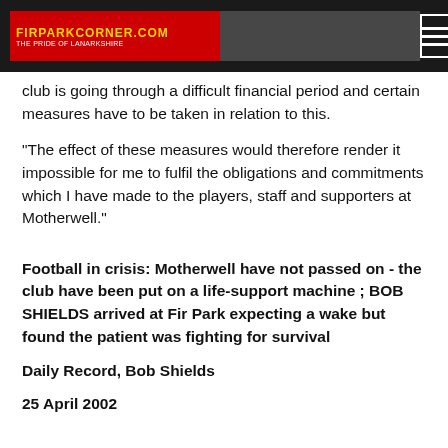FIRPARKCORNER.COM - THE PRIDE OF LANARKSHIRE
club is going through a difficult financial period and certain measures have to be taken in relation to this.
"The effect of these measures would therefore render it impossible for me to fulfil the obligations and commitments which I have made to the players, staff and supporters at Motherwell."
Football in crisis: Motherwell have not passed on - the club have been put on a life-support machine ; BOB SHIELDS arrived at Fir Park expecting a wake but found the patient was fighting for survival
Daily Record, Bob Shields
25 April 2002